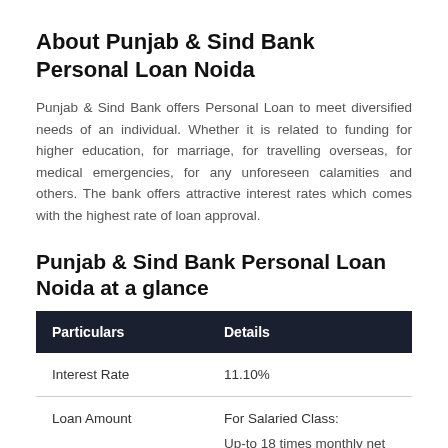About Punjab & Sind Bank Personal Loan Noida
Punjab & Sind Bank offers Personal Loan to meet diversified needs of an individual. Whether it is related to funding for higher education, for marriage, for travelling overseas, for medical emergencies, for any unforeseen calamities and others. The bank offers attractive interest rates which comes with the highest rate of loan approval.
Punjab & Sind Bank Personal Loan Noida at a glance
| Particulars | Details |
| --- | --- |
| Interest Rate | 11.10% |
| Loan Amount | For Salaried Class:

Up-to 18 times monthly net salary/1.5 times of Net Annual Income or ₹ 3 lacs, whichever is less. |